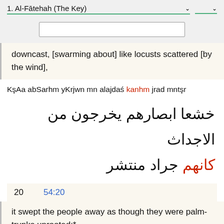1. Al-Fātehah (The Key)
downcast, [swarming about] like locusts scattered [by the wind],
KşAa abSarhm yKrjwn mn alajdasś kanhm jrad mntşr
خشعا ابصارهم يخرجون من الاجداث
كانهم جراد منتشر
20  54:20
it swept the people away as though they were palm-trunks uprooted:*